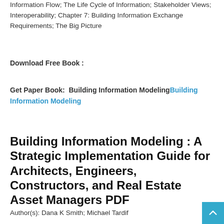Information Flow; The Life Cycle of Information; Stakeholder Views; Interoperability; Chapter 7: Building Information Exchange Requirements; The Big Picture
Download Free Book :
Get Paper Book:  Building Information ModelingBuilding Information Modeling
Building Information Modeling : A Strategic Implementation Guide for Architects, Engineers, Constructors, and Real Estate Asset Managers PDF
Author(s): Dana K Smith; Michael Tardif